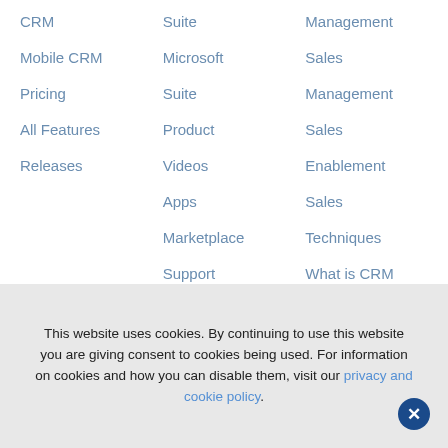CRM
Mobile CRM
Pricing
All Features
Releases
Suite
Microsoft
Suite
Product
Videos
Apps
Marketplace
Support
Management
Sales
Management
Sales
Enablement
Sales
Techniques
What is CRM
Reference
This website uses cookies. By continuing to use this website you are giving consent to cookies being used. For information on cookies and how you can disable them, visit our privacy and cookie policy.